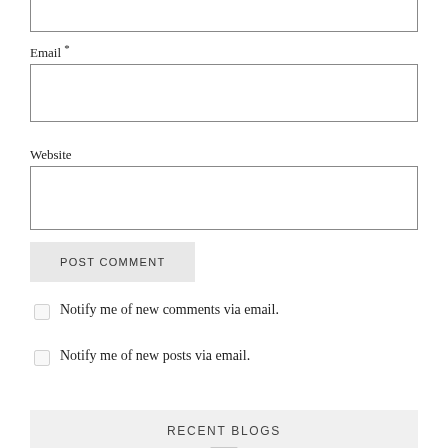Email *
Website
POST COMMENT
Notify me of new comments via email.
Notify me of new posts via email.
RECENT BLOGS